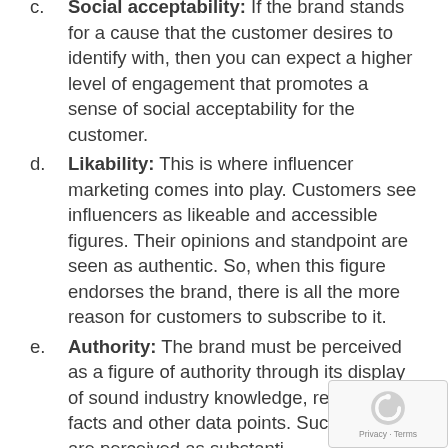c.    Social acceptability: If the brand stands for a cause that the customer desires to identify with, then you can expect a higher level of engagement that promotes a sense of social acceptability for the customer.
d.    Likability: This is where influencer marketing comes into play. Customers see influencers as likeable and accessible figures. Their opinions and standpoint are seen as authentic. So, when this figure endorses the brand, there is all the more reason for customers to subscribe to it.
e.    Authority: The brand must be perceived as a figure of authority through its display of sound industry knowledge, relevant facts and other data points. Such brands are perceived as substantial and reliable.